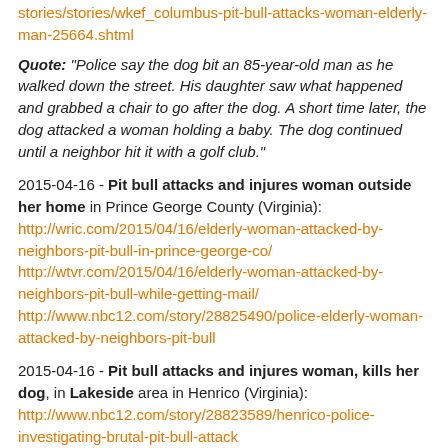stories/stories/wkef_columbus-pit-bull-attacks-woman-elderly-man-25664.shtml
Quote: "Police say the dog bit an 85-year-old man as he walked down the street. His daughter saw what happened and grabbed a chair to go after the dog. A short time later, the dog attacked a woman holding a baby. The dog continued until a neighbor hit it with a golf club."
2015-04-16 - Pit bull attacks and injures woman outside her home in Prince George County (Virginia): http://wric.com/2015/04/16/elderly-woman-attacked-by-neighbors-pit-bull-in-prince-george-co/ http://wtvr.com/2015/04/16/elderly-woman-attacked-by-neighbors-pit-bull-while-getting-mail/ http://www.nbc12.com/story/28825490/police-elderly-woman-attacked-by-neighbors-pit-bull
2015-04-16 - Pit bull attacks and injures woman, kills her dog, in Lakeside area in Henrico (Virginia): http://www.nbc12.com/story/28823589/henrico-police-investigating-brutal-pit-bull-attack